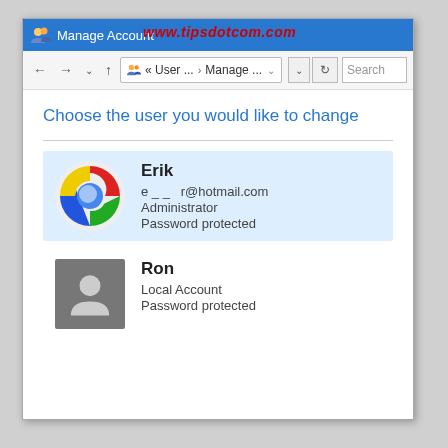[Figure (screenshot): Windows Control Panel - Manage Accounts window showing two user accounts: Erik (Administrator, Password protected, with Chrome icon and hotmail email) and Ron (Local Account, Password protected, with generic user icon). Title bar shows 'Manage Account' with watermark 'www.tipsdotcom.com'. Address bar shows navigation path '« User ... > Manage ...']
Choose the user you would like to change
Erik
e _ _ r@hotmail.com
Administrator
Password protected
Ron
Local Account
Password protected